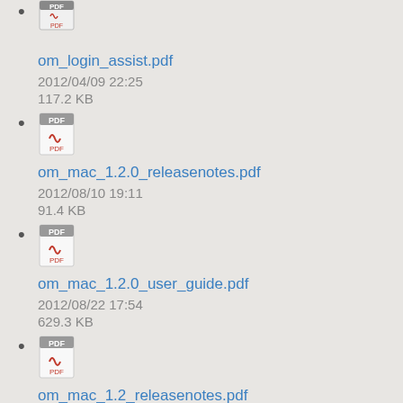om_login_assist.pdf
2012/04/09 22:25
117.2 KB
om_mac_1.2.0_releasenotes.pdf
2012/08/10 19:11
91.4 KB
om_mac_1.2.0_user_guide.pdf
2012/08/22 17:54
629.3 KB
om_mac_1.2_releasenotes.pdf
2012/08/10 19:10